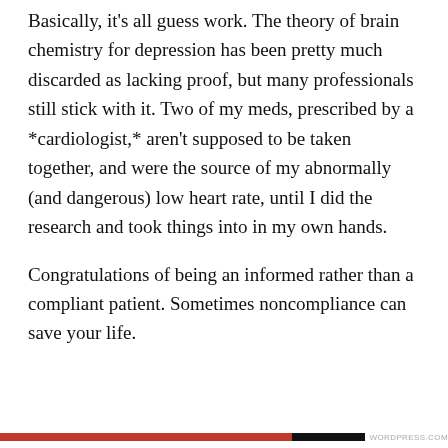Basically, it's all guess work. The theory of brain chemistry for depression has been pretty much discarded as lacking proof, but many professionals still stick with it. Two of my meds, prescribed by a *cardiologist,* aren't supposed to be taken together, and were the source of my abnormally (and dangerous) low heart rate, until I did the research and took things into in my own hands.
Congratulations of being an informed rather than a compliant patient. Sometimes noncompliance can save your life.
Privacy & Cookies: This site uses cookies. By continuing to use this website, you agree to their use. To find out more, including how to control cookies, see here: Cookie Policy
Close and accept